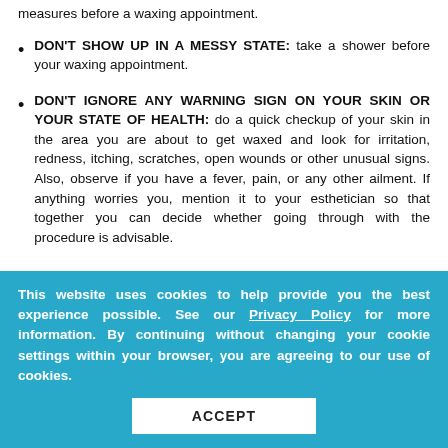measures before a waxing appointment.
DON'T SHOW UP IN A MESSY STATE: take a shower before your waxing appointment.
DON'T IGNORE ANY WARNING SIGN ON YOUR SKIN OR YOUR STATE OF HEALTH: do a quick checkup of your skin in the area you are about to get waxed and look for irritation, redness, itching, scratches, open wounds or other unusual signs. Also, observe if you have a fever, pain, or any other ailment. If anything worries you, mention it to your esthetician so that together you can decide whether going through with the procedure is advisable.
This website uses cookies to help provide you the best experience possible. See our Privacy Policy for more information. By continuing without changing your cookie settings within your browser, you are agreeing to our use of cookies.